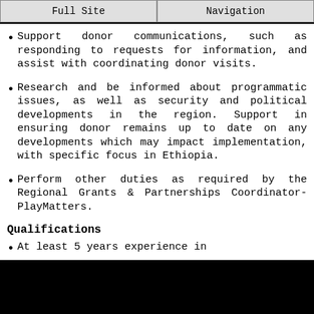Full Site  |  Navigation
Support donor communications, such as responding to requests for information, and assist with coordinating donor visits.
Research and be informed about programmatic issues, as well as security and political developments in the region. Support in ensuring donor remains up to date on any developments which may impact implementation, with specific focus in Ethiopia.
Perform other duties as required by the Regional Grants & Partnerships Coordinator-PlayMatters.
Qualifications
At least 5 years experience in...